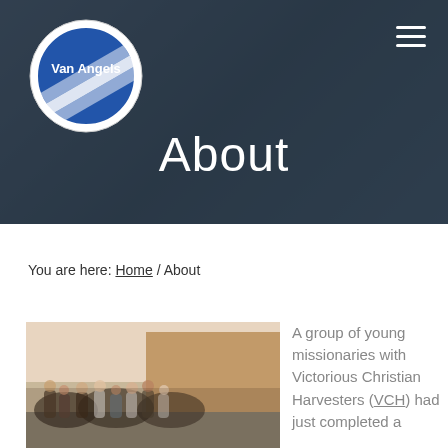[Figure (logo): Van Angels circular logo with blue and white diagonal stripes and text 'Van Angels']
About
[Figure (photo): Dark background hero photo of a van/truck scene with overlay]
You are here: Home / About
[Figure (photo): Group of young missionaries standing on a street in front of a building]
A group of young missionaries with Victorious Christian Harvesters (VCH) had just completed a